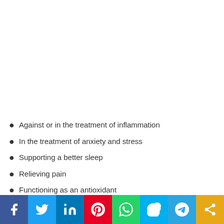Against or in the treatment of inflammation
In the treatment of anxiety and stress
Supporting a better sleep
Relieving pain
Functioning as an antioxidant